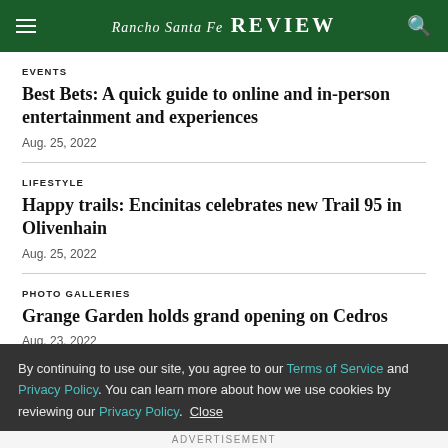Rancho Santa Fe REVIEW
EVENTS
Best Bets: A quick guide to online and in-person entertainment and experiences
Aug. 25, 2022
LIFESTYLE
Happy trails: Encinitas celebrates new Trail 95 in Olivenhain
Aug. 25, 2022
PHOTO GALLERIES
Grange Garden holds grand opening on Cedros
Aug. 23, 2022
By continuing to use our site, you agree to our Terms of Service and Privacy Policy. You can learn more about how we use cookies by reviewing our Privacy Policy. Close
ADVERTISEMENT